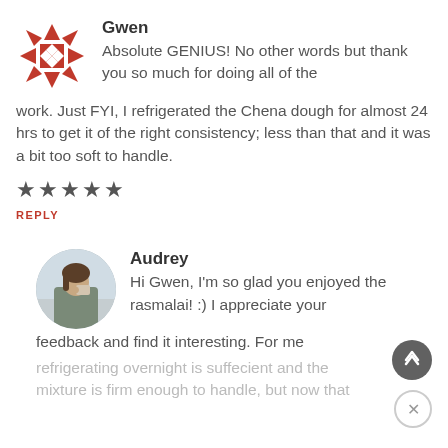[Figure (logo): Red geometric snowflake/asterisk logo avatar for user Gwen]
Gwen
Absolute GENIUS! No other words but thank you so much for doing all of the work. Just FYI, I refrigerated the Chena dough for almost 24 hrs to get it of the right consistency; less than that and it was a bit too soft to handle.
★★★★★
REPLY
[Figure (photo): Circular profile photo of a woman drinking from a cup, outdoor background]
Audrey
Hi Gwen, I'm so glad you enjoyed the rasmalai! :) I appreciate your feedback and find it interesting. For me refrigerating overnight is suffecient and the mixture is firm enough to handle, but now that